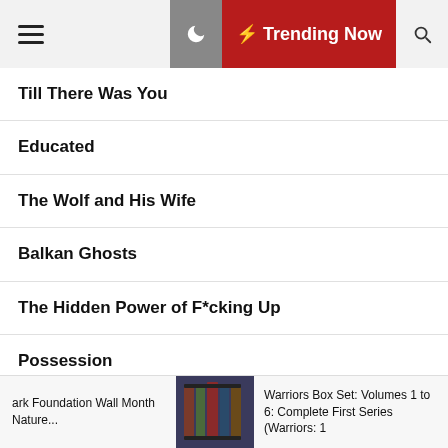Trending Now
Till There Was You
Educated
The Wolf and His Wife
Balkan Ghosts
The Hidden Power of F*cking Up
Possession
Blood Relations
ark Foundation Wall Month Nature...
Warriors Box Set: Volumes 1 to 6: Complete First Series (Warriors: 1